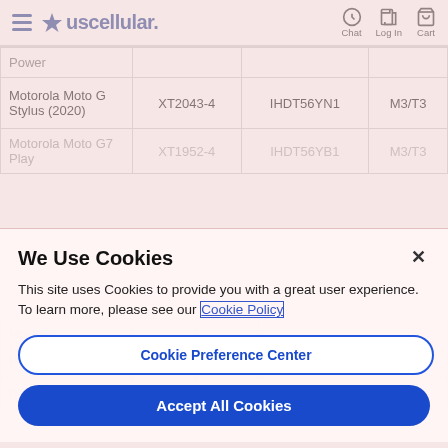USCellular navigation header with Chat, Log In, Cart icons
| Device | Model | FCC ID | Class |
| --- | --- | --- | --- |
| Power |  |  |  |
| Motorola Moto G Stylus (2020) | XT2043-4 | IHDT56YN1 | M3/T3 |
| Motorola Moto G7 Play | XT1952-4 | IHDT56YB1 | M3/T3 |
| Motorola Moto Z3 Play |  |  | M4/T4 |
| NUU |  |  |  |
We Use Cookies
This site uses Cookies to provide you with a great user experience. To learn more, please see our Cookie Policy
Cookie Preference Center
Accept All Cookies